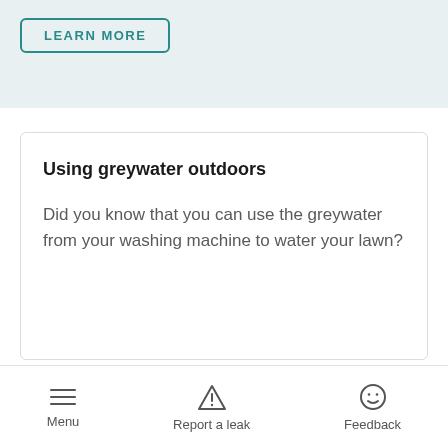[Figure (other): LEARN MORE button with teal border]
Using greywater outdoors
Did you know that you can use the greywater from your washing machine to water your lawn?
Menu  Report a leak  Feedback